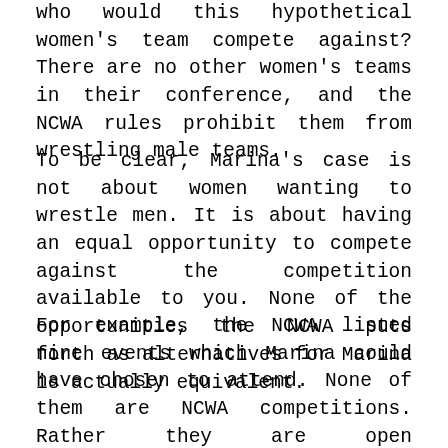who would this hypothetical women's team compete against? There are no other women's teams in their conference, and the NCWA rules prohibit them from wrestling male teams.
To be clear, Marina's case is not about women wanting to wrestle men. It is about having an equal opportunity to compete against the competition available to you. None of the opportunities the NCWA puts forth as alternatives for Marina is actually equivalent.
For example, the NCWA listed nine events which Marina could have chosen to attend. None of them are NCWA competitions. Rather they are open competitions where anyone can attend regardless of age or ability. Marina,